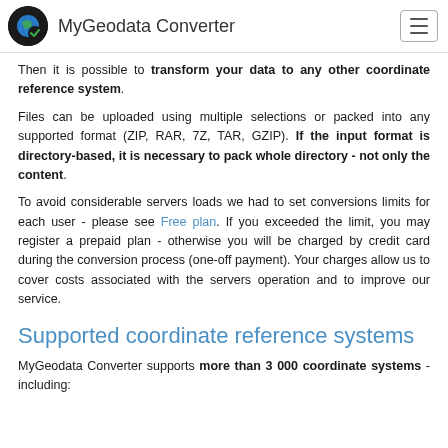MyGeodata Converter
Then it is possible to transform your data to any other coordinate reference system.
Files can be uploaded using multiple selections or packed into any supported format (ZIP, RAR, 7Z, TAR, GZIP). If the input format is directory-based, it is necessary to pack whole directory - not only the content.
To avoid considerable servers loads we had to set conversions limits for each user - please see Free plan. If you exceeded the limit, you may register a prepaid plan - otherwise you will be charged by credit card during the conversion process (one-off payment). Your charges allow us to cover costs associated with the servers operation and to improve our service.
Supported coordinate reference systems
MyGeodata Converter supports more than 3 000 coordinate systems - including: